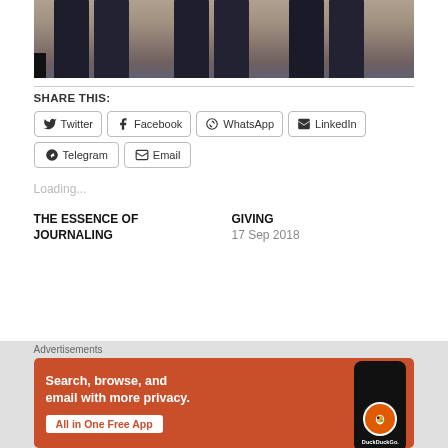[Figure (photo): Bottom portion of a photo showing people in dark suits/trousers standing on a light-colored ground]
SHARE THIS:
Twitter
Facebook
WhatsApp
LinkedIn
Telegram
Email
Loading...
THE ESSENCE OF JOURNALING
GIVING
17 Sep 2018
[Figure (screenshot): DuckDuckGo advertisement banner: orange background with text 'Search, browse, and email with more privacy. All in One Free App' and a phone image with DuckDuckGo logo]